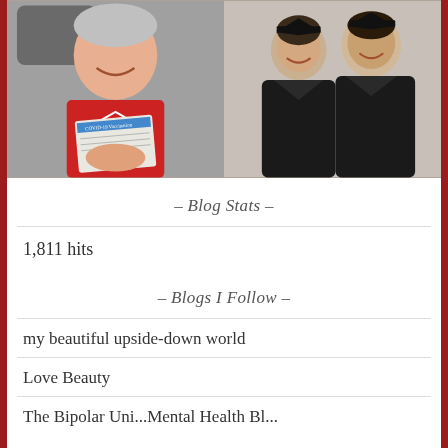[Figure (photo): Two photos side by side: left shows a person in a red shirt holding a vaccination card while sitting in a car; right shows two people in black graduation gowns posing together.]
– Blog Stats –
1,811 hits
– Blogs I Follow –
my beautiful upside-down world
Love Beauty
The Bipolar Uni...Mental Health Bl...